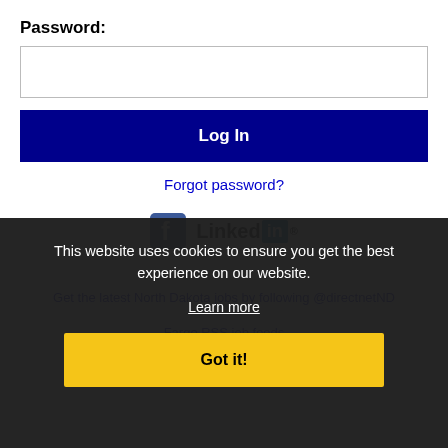Password:
Log In
Forgot password?
[Figure (logo): Facebook and LinkedIn social media logos]
Get the latest North Dakota jobs by following @directnetND
Fargo RSS job feeds
This website uses cookies to ensure you get the best experience on our website.
Learn more
Got it!